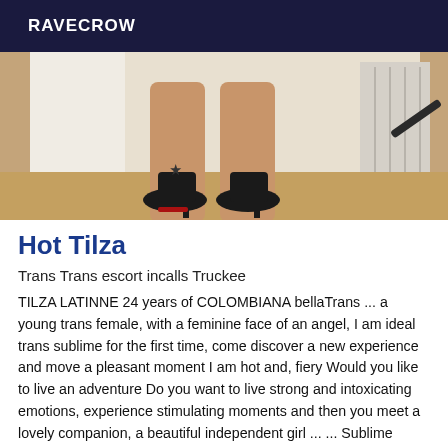RAVECROW
[Figure (photo): Close-up photo of legs wearing black high heel shoes, standing near a white wall with a radiator visible in the background. A star tattoo is visible on one ankle.]
Hot Tilza
Trans Trans escort incalls Truckee
TILZA LATINNE 24 years of COLOMBIANA bellaTrans ... a young trans female, with a feminine face of an angel, I am ideal trans sublime for the first time, come discover a new experience and move a pleasant moment I am hot and, fiery Would you like to live an adventure Do you want to live strong and intoxicating emotions, experience stimulating moments and then you meet a lovely companion, a beautiful independent girl ... ... Sublime beauty, delicious, beautiful, charming ...